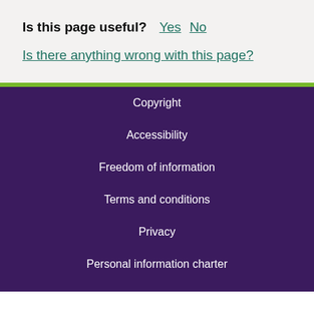Is this page useful? Yes No
Is there anything wrong with this page?
Copyright
Accessibility
Freedom of information
Terms and conditions
Privacy
Personal information charter
Feedback and complaints